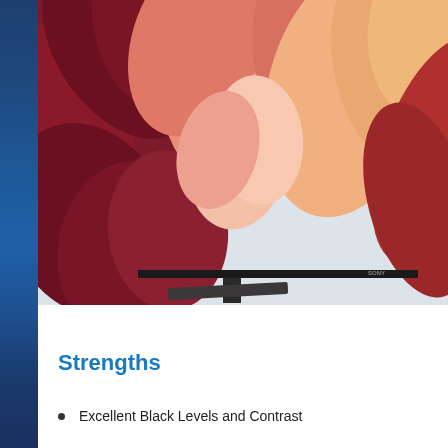[Figure (photo): Sony 4K TV displaying a close-up of red and orange dahlia flower petals, shown at an angle with a stand/base visible below the screen]
Strengths
Excellent Black Levels and Contrast